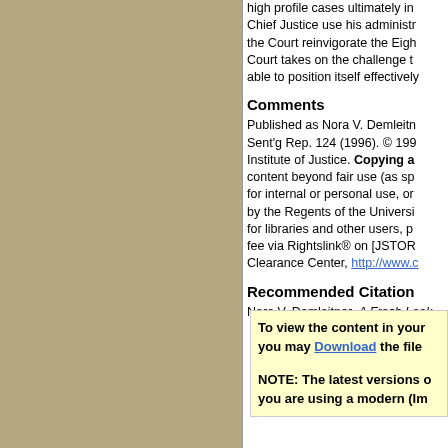high profile cases ultimately in... Chief Justice use his administr... the Court reinvigorate the Eigh... Court takes on the challenge t... able to position itself effectively
Comments
Published as Nora V. Demleitn... Sent'g Rep. 124 (1996). © 199... Institute of Justice. Copying a... content beyond fair use (as sp... for internal or personal use, or... by the Regents of the Universi... for libraries and other users, p... fee via Rightslink® on [JSTOR... Clearance Center, http://www.c...
Recommended Citation
Nora V. Demleitner, A Fresh Look...
To view the content in your browser, you may Download the file

NOTE: The latest versions of... you are using a modern (Im...